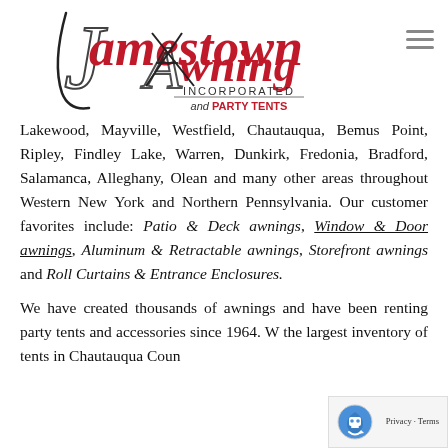[Figure (logo): Jamestown Awning Incorporated and Party Tents logo with stylized J and A letters in red and black script]
Lakewood, Mayville, Westfield, Chautauqua, Bemus Point, Ripley, Findley Lake, Warren, Dunkirk, Fredonia, Bradford, Salamanca, Alleghany, Olean and many other areas throughout Western New York and Northern Pennsylvania. Our customer favorites include: Patio & Deck awnings, Window & Door awnings, Aluminum & Retractable awnings, Storefront awnings and Roll Curtains & Entrance Enclosures.

We have created thousands of awnings and have been renting party tents and accessories since 1964. W... the largest inventory of tents in Chautauqua Coun...
[Figure (logo): Google reCAPTCHA privacy badge with robot icon and Privacy - Terms links]